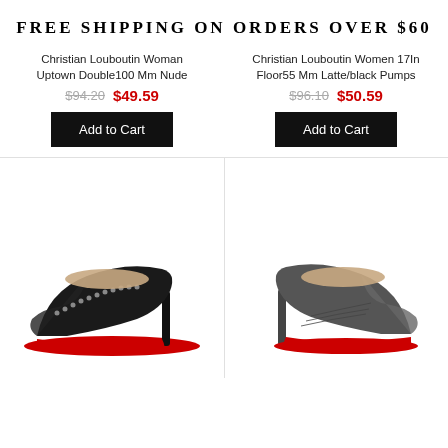FREE SHIPPING ON ORDERS OVER $60
Christian Louboutin Woman Uptown Double100 Mm Nude
$94.20  $49.59
Christian Louboutin Women 17In Floor55 Mm Latte/black Pumps
$96.10  $50.59
[Figure (photo): Black studded Christian Louboutin high heel pump with red sole]
[Figure (photo): Dark grey Christian Louboutin high heel pump with red sole]